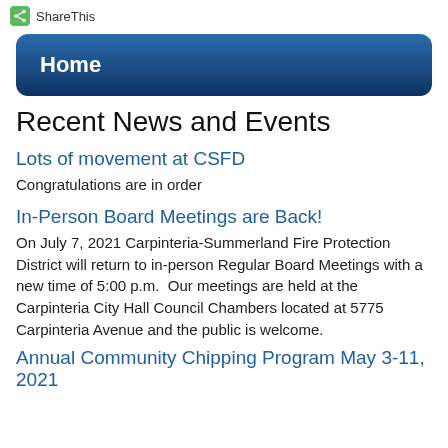ShareThis
Home
Recent News and Events
Lots of movement at CSFD
Congratulations are in order
In-Person Board Meetings are Back!
On July 7, 2021 Carpinteria-Summerland Fire Protection District will return to in-person Regular Board Meetings with a new time of 5:00 p.m.  Our meetings are held at the Carpinteria City Hall Council Chambers located at 5775 Carpinteria Avenue and the public is welcome.
Annual Community Chipping Program May 3-11, 2021